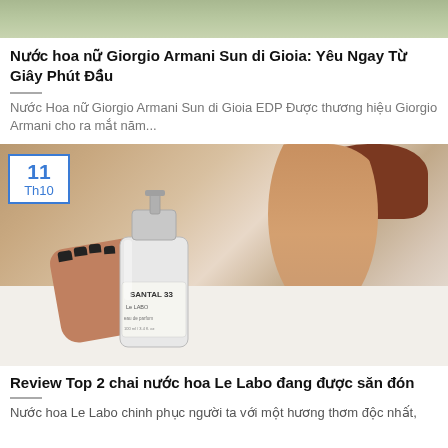[Figure (photo): Partial top image strip showing green foliage/nature background]
Nước hoa nữ Giorgio Armani Sun di Gioia: Yêu Ngay Từ Giây Phút Đầu
Nước Hoa nữ Giorgio Armani Sun di Gioia EDP Được thương hiệu Giorgio Armani cho ra mắt năm...
[Figure (photo): Person holding Le Labo Santal 33 perfume bottle, with date badge showing 11 Th10]
Review Top 2 chai nước hoa Le Labo đang được săn đón
Nước hoa Le Labo chinh phục người ta với một hương thơm độc nhất,